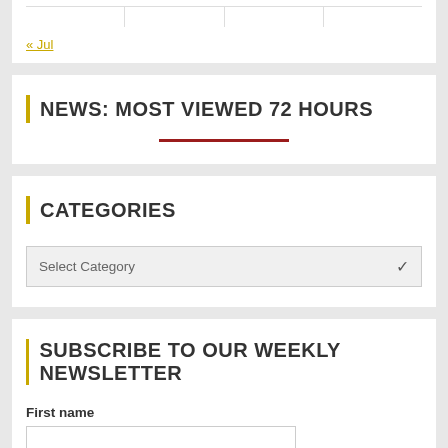|   |   |   |   |
« Jul
NEWS: MOST VIEWED 72 HOURS
CATEGORIES
Select Category
SUBSCRIBE TO OUR WEEKLY NEWSLETTER
First name